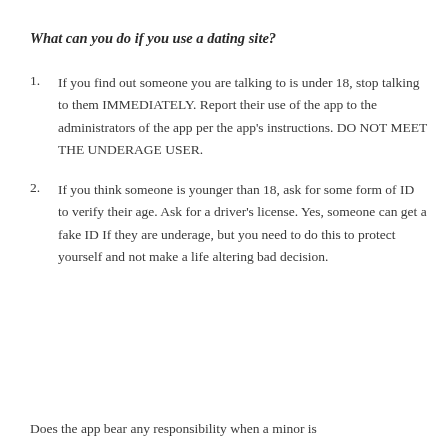What can you do if you use a dating site?
If you find out someone you are talking to is under 18, stop talking to them IMMEDIATELY. Report their use of the app to the administrators of the app per the app's instructions. DO NOT MEET THE UNDERAGE USER.
If you think someone is younger than 18, ask for some form of ID to verify their age. Ask for a driver's license. Yes, someone can get a fake ID If they are underage, but you need to do this to protect yourself and not make a life altering bad decision.
Does the app bear any responsibility when a minor is